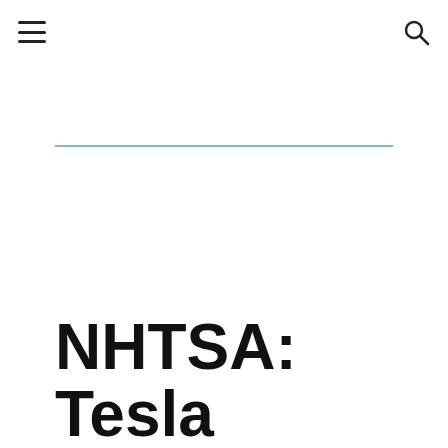navigation header with hamburger menu and search icon
NHTSA: Tesla